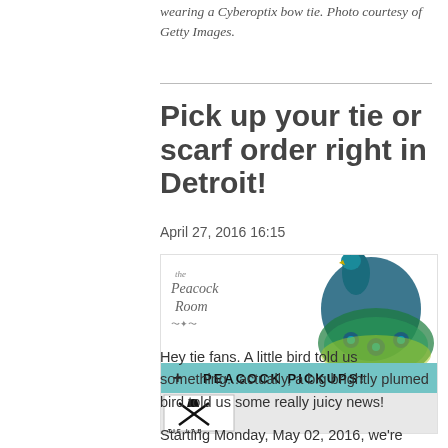wearing a Cyberoptix bow tie. Photo courtesy of Getty Images.
Pick up your tie or scarf order right in Detroit!
April 27, 2016 16:15
[Figure (illustration): The Peacock Room logo with a peacock illustration and a teal banner reading '+ PEACOCK PICKUPS!' with a Tie Lab logo box below.]
Hey tie fans.  A little bird told us something...actually, a big brightly plumed bird told us some really juicy news!
Starting Monday, May 02, 2016, we're excited